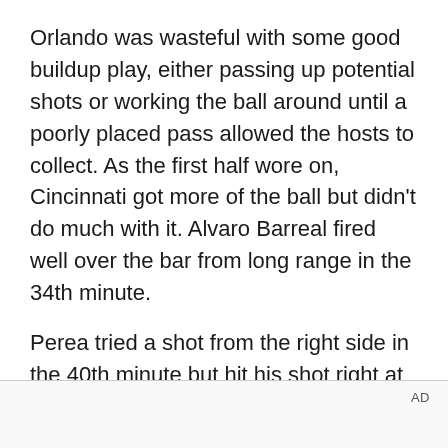Orlando was wasteful with some good buildup play, either passing up potential shots or working the ball around until a poorly placed pass allowed the hosts to collect. As the first half wore on, Cincinnati got more of the ball but didn't do much with it. Alvaro Barreal fired well over the bar from long range in the 34th minute.
Perea tried a shot from the right side in the 40th minute but hit his shot right at goalkeeper Przemysław Tyton. Nani tried to curl one inside the upper left corner from the right side in the 42nd minute but couldn't get the shot to curl quite enough. Late in the half, Nani had his shot blocked and it fell to Pereyra on the left. The Uruguayan fired on target but Tyton got a hand to it.